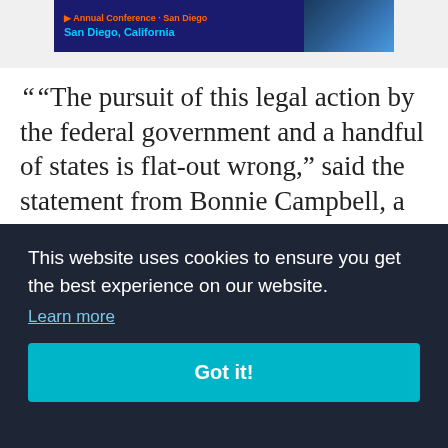[Figure (other): Banner image for a conference in San Diego, California with event text and city skyline photo]
""The pursuit of this legal action by the federal government and a handful of states is flat-out wrong," said the statement from Bonnie Campbell, a former Iowa attorney general and member of the state Board of Regents who is an adviser to the college's
This website uses cookies to ensure you get the best experience on our website. Learn more Got it!
uate as in